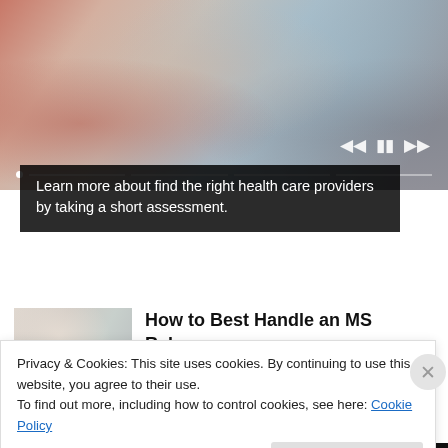[Figure (photo): Blurred photo of hands over documents, appears to be a medical consultation scene with papers and a tablet]
Learn more about find the right health care providers by taking a short assessment.
[Figure (photo): Thumbnail photo of a young Asian woman looking thoughtfully to the side, indoor setting]
How to Best Handle an MS Relapse
WebMD
Privacy & Cookies: This site uses cookies. By continuing to use this website, you agree to their use.
To find out more, including how to control cookies, see here: Cookie Policy